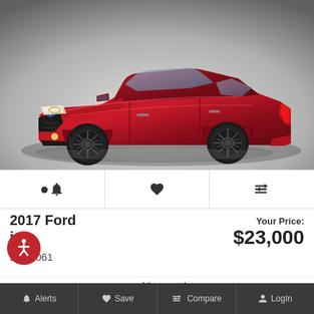[Figure (photo): Red 2017 Ford Fusion sedan photographed from a front-left 3/4 angle on a neutral grey gradient background]
🔔  ♥  ⇄
2017 Ford Fusion
Miles: 61,061
Your Price: $23,000
Hawkinson Kia
855-260-1328
Alerts  Save  Compare  LogIn